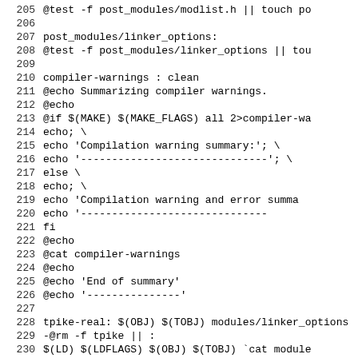Makefile code listing lines 205-230 showing post_modules/linker_options, compiler-warnings target, and tpike-real target